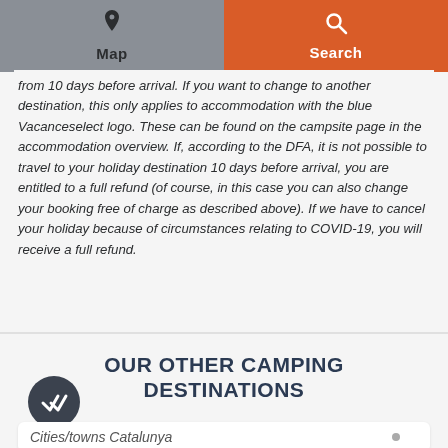Map | Search
from 10 days before arrival. If you want to change to another destination, this only applies to accommodation with the blue Vacanceselect logo. These can be found on the campsite page in the accommodation overview. If, according to the DFA, it is not possible to travel to your holiday destination 10 days before arrival, you are entitled to a full refund (of course, in this case you can also change your booking free of charge as described above). If we have to cancel your holiday because of circumstances relating to COVID-19, you will receive a full refund.
OUR OTHER CAMPING DESTINATIONS
Cities/towns Catalunya